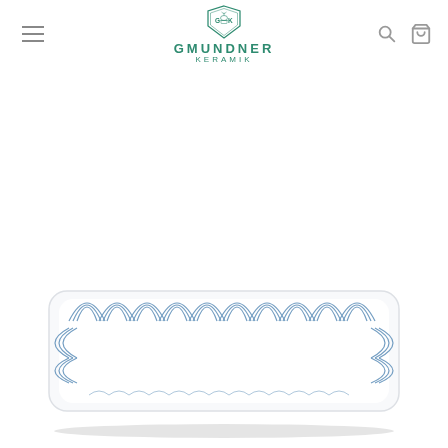[Figure (logo): Gmundner Keramik logo with green emblem and brand name]
[Figure (photo): A rectangular ceramic serving plate/tray decorated with blue concentric arc patterns along the borders, white interior, on a white background]